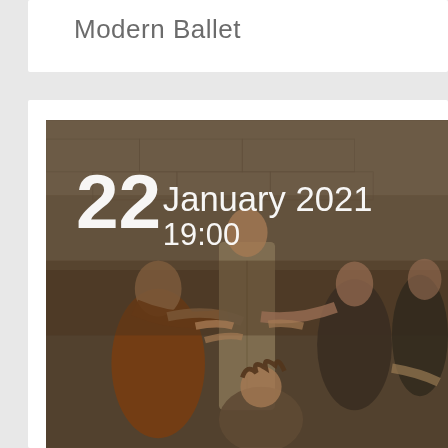Modern Ballet
[Figure (photo): A ballet/modern dance performance scene showing multiple dancers in period costumes, with warm brown tones. Dancers are reaching and gesturing toward a central figure. Date overlay shows 22 January 2021 19:00 in white text.]
22 January 2021
19:00